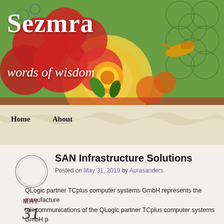[Figure (illustration): Colorful decorative blog header banner with floral folk-art pattern in red, orange, green, and blue. Features flowers, swirling circles, bird, and tile-like motifs on a green background.]
Sezmra
words of wisdom
[Figure (illustration): Torn paper / rough-edged beige navigation bar with navigation links Home and About]
Home
About
SAN Infrastructure Solutions
Posted on May 31, 2019 by Aurasanders
QLogic partner TCplus computer systems GmbH represents the manufacturer telecommunications of the QLogic partner TCplus computer systems GmbH p ITnT 2009 in Vienna (stand C1023, Hall C) current products of the provider of high-performance storage infrastructure. These include, including the SANbla and SANbox switches of the company. A special focus is on the 8 GB/s Fibre-